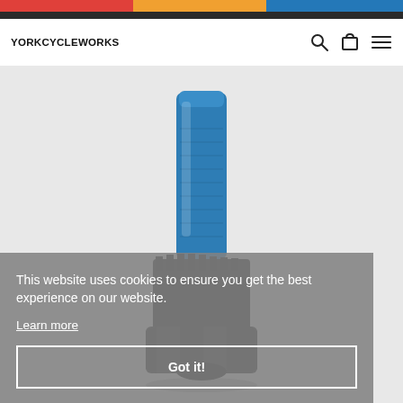YORK CYCLE WORKS
[Figure (photo): Blue and black bicycle cassette lockring removal tool with blue anodized aluminum handle and black splined socket, photographed on a light grey background]
This website uses cookies to ensure you get the best experience on our website.
Learn more
Got it!